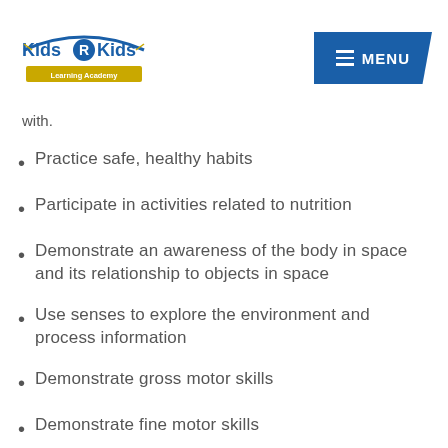Kids R Kids Learning Academy | MENU
with.
Practice safe, healthy habits
Participate in activities related to nutrition
Demonstrate an awareness of the body in space and its relationship to objects in space
Use senses to explore the environment and process information
Demonstrate gross motor skills
Demonstrate fine motor skills